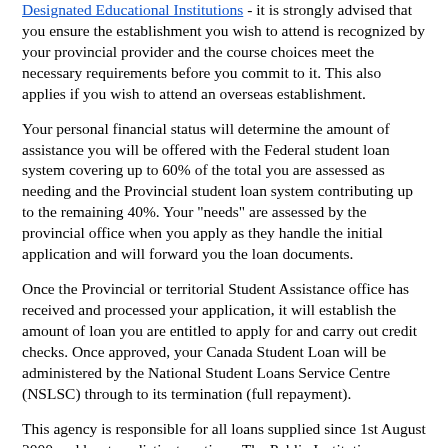Designated Educational Institutions - it is strongly advised that you ensure the establishment you wish to attend is recognized by your provincial provider and the course choices meet the necessary requirements before you commit to it. This also applies if you wish to attend an overseas establishment.
Your personal financial status will determine the amount of assistance you will be offered with the Federal student loan system covering up to 60% of the total you are assessed as needing and the Provincial student loan system contributing up to the remaining 40%. Your "needs" are assessed by the provincial office when you apply as they handle the initial application and will forward you the loan documents.
Once the Provincial or territorial Student Assistance office has received and processed your application, it will establish the amount of loan you are entitled to apply for and carry out credit checks. Once approved, your Canada Student Loan will be administered by the National Student Loans Service Centre (NSLSC) through to its termination (full repayment).
This agency is responsible for all loans supplied since 1st August 2000 and has two distinct sections. The Public Institutions Division (looking after anyone attending a course at a Public facility such as a University or Community college) and the Private Institutions Division (for those who are receiving instruction at a privately funded facility like a technical college or trade school).
To maintain your loan interest free whilst a student is a fairly simple exercise. Each school year you must send the NSLSC your proof of enrollment (provided by the institution you are attending) and ensure everything is in order. You must reapply to your provincial office each